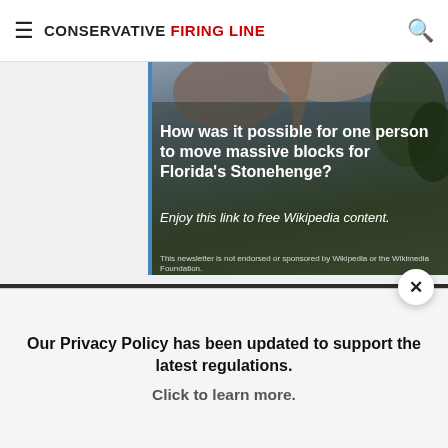CONSERVATIVE FIRING LINE
[Figure (photo): Advertisement banner showing rocky formations with text overlay about Florida's Stonehenge and Wikipedia content link]
How was it possible for one person to move massive blocks for Florida's Stonehenge?
Enjoy this link to free Wikipedia content.
This newsletter is not endorsed or sponsored by Wikipedia or the Wikimedia Foundation.
[Figure (other): Dark grey quote block with large red quotation mark]
Our Privacy Policy has been updated to support the latest regulations. Click to learn more.